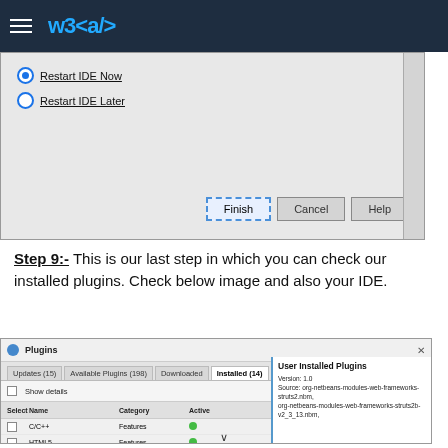W3<a/>
[Figure (screenshot): IDE restart dialog with 'Restart IDE Now' selected, and Finish/Cancel/Help buttons at the bottom]
Step 9:- This is our last step in which you can check our installed plugins. Check below image and also your IDE.
[Figure (screenshot): NetBeans Plugins dialog showing Installed (14) tab with User Installed Plugins selected in the list, and plugin details on the right]